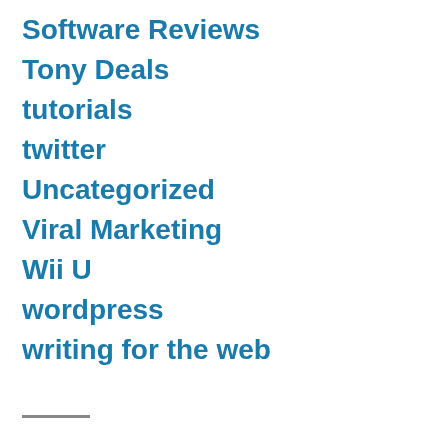Software Reviews
Tony Deals
tutorials
twitter
Uncategorized
Viral Marketing
Wii U
wordpress
writing for the web